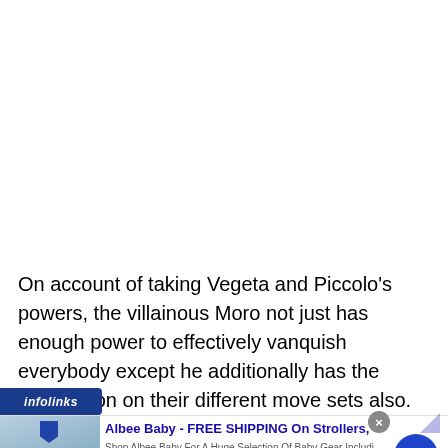On account of taking Vegeta and Piccolo’s powers, the villainous Moro not just has enough power to effectively vanquish everybody except he additionally has the information on their different move sets also. This makes it simple to
[Figure (other): Infolinks branded label bar (dark blue) and advertisement banner for Albee Baby with close button and arrow]